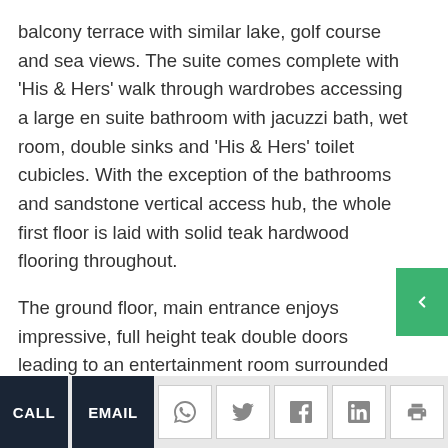balcony terrace with similar lake, golf course and sea views. The suite comes complete with 'His & Hers' walk through wardrobes accessing a large en suite bathroom with jacuzzi bath, wet room, double sinks and 'His & Hers' toilet cubicles. With the exception of the bathrooms and sandstone vertical access hub, the whole first floor is laid with solid teak hardwood flooring throughout.
The ground floor, main entrance enjoys impressive, full height teak double doors leading to an entertainment room surrounded by a water feature. With bi-fold full height teak doors opening to the garden, it comes complete with pool table, wine bar, sink & fridge.
CALL  EMAIL  [social icons: WhatsApp, Twitter, Facebook, LinkedIn, Print]